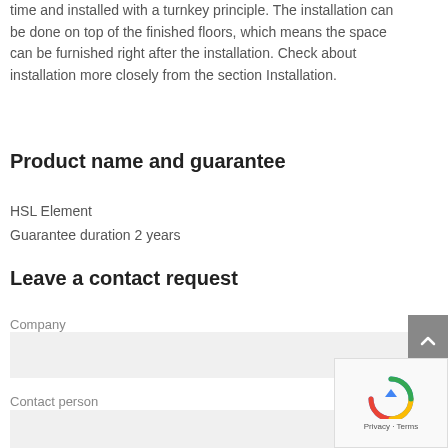time and installed with a turnkey principle. The installation can be done on top of the finished floors, which means the space can be furnished right after the installation. Check about installation more closely from the section Installation.
Product name and guarantee
HSL Element
Guarantee duration 2 years
Leave a contact request
Company
Contact person